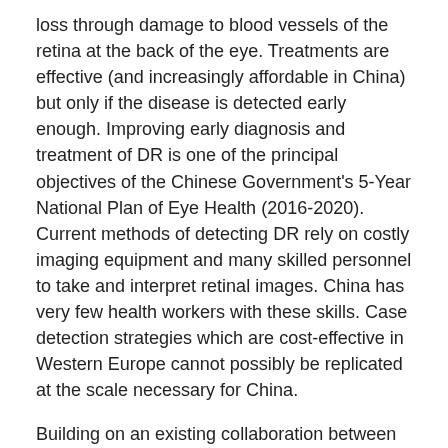loss through damage to blood vessels of the retina at the back of the eye. Treatments are effective (and increasingly affordable in China) but only if the disease is detected early enough. Improving early diagnosis and treatment of DR is one of the principal objectives of the Chinese Government's 5-Year National Plan of Eye Health (2016-2020). Current methods of detecting DR rely on costly imaging equipment and many skilled personnel to take and interpret retinal images. China has very few health workers with these skills. Case detection strategies which are cost-effective in Western Europe cannot possibly be replicated at the scale necessary for China.
Building on an existing collaboration between the University of Liverpool, Peking University and the Chinese Medical Association (CMA), our joint research team from Liverpool and China of engineers, statisticians, education specialists, eye doctors and health economists are well placed to develop a new diagnostic imaging solution tailored to local needs.
Our objectives for this project are: